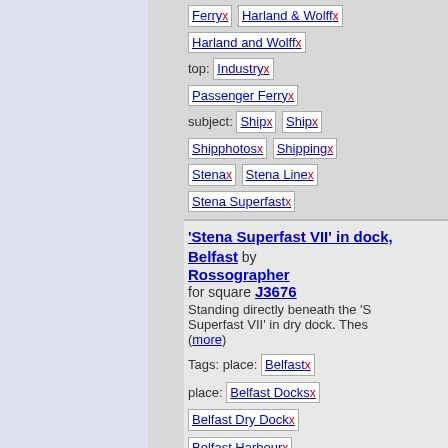Ferry x  Harland & Wolff x
Harland and Wolff x
top: Industry x
Passenger Ferry x
subject: Ship x  Ship x
Shipphotos x  Shipping x
Stena x  Stena Line x
Stena Superfast x
'Stena Superfast VII' in dock, Belfast by Rossographer for square J3676 Standing directly beneath the 'Stena Superfast VII' in dry dock. Thes... (more)
Tags: place: Belfast x
place: Belfast Docks x
Belfast Dry Dock x
Belfast Harbour x
place: Belfast Harbour